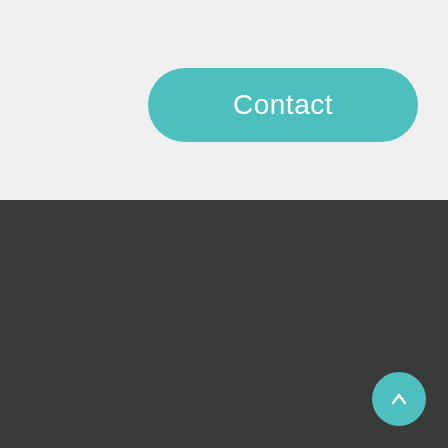Contact
[Figure (logo): Politanalytics.com logo with a line-art capitol building illustration and text POLITANALYTICS.COM below]
[Figure (infographic): Four white circular social media icons (Facebook, Instagram, Twitter, LinkedIn) with orange icons, on dark background]
[Figure (other): Teal circular back-to-top button with white upward arrow]